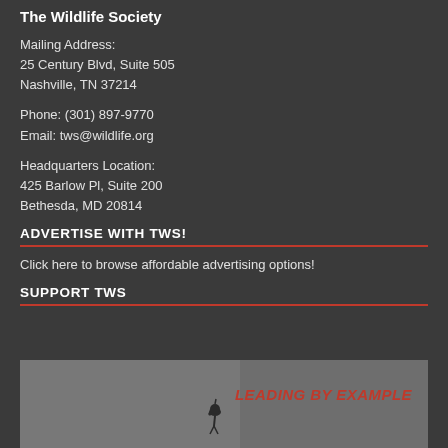The Wildlife Society
Mailing Address:
25 Century Blvd, Suite 505
Nashville, TN 37214
Phone: (301) 897-9770
Email: tws@wildlife.org
Headquarters Location:
425 Barlow Pl, Suite 200
Bethesda, MD 20814
ADVERTISE WITH TWS!
Click here to browse affordable advertising options!
SUPPORT TWS
[Figure (photo): Dark background image with bird silhouette and 'LEADING BY EXAMPLE' text in red italic font]